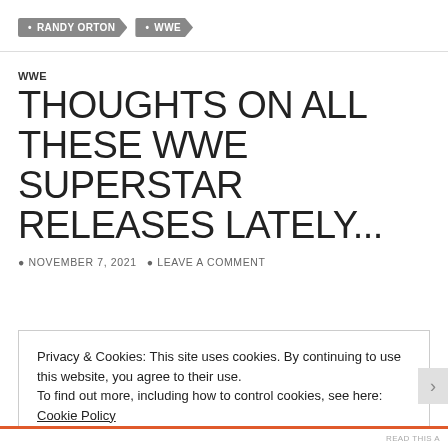• RANDY ORTON
• WWE
WWE
THOUGHTS ON ALL THESE WWE SUPERSTAR RELEASES LATELY...
NOVEMBER 7, 2021   LEAVE A COMMENT
Privacy & Cookies: This site uses cookies. By continuing to use this website, you agree to their use.
To find out more, including how to control cookies, see here: Cookie Policy
Close and accept